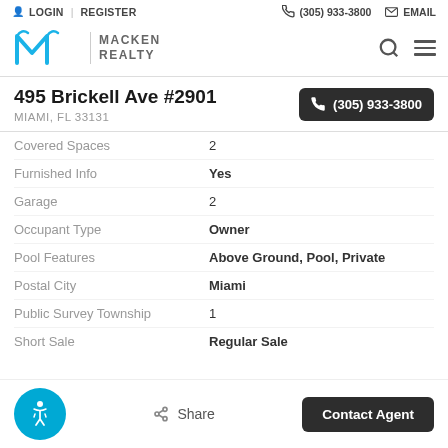LOGIN | REGISTER   (305) 933-3800   EMAIL
[Figure (logo): Macken Realty logo with stylized blue M and text MACKEN REALTY]
495 Brickell Ave #2901
MIAMI, FL 33131
(305) 933-3800
| Property Detail | Value |
| --- | --- |
| Covered Spaces | 2 |
| Furnished Info | Yes |
| Garage | 2 |
| Occupant Type | Owner |
| Pool Features | Above Ground, Pool, Private |
| Postal City | Miami |
| Public Survey Township | 1 |
| Short Sale | Regular Sale |
Share
Contact Agent